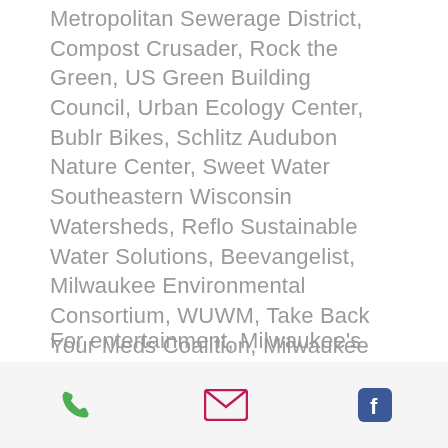Metropolitan Sewerage District, Compost Crusader, Rock the Green, US Green Building Council, Urban Ecology Center, Bublr Bikes, Schlitz Audubon Nature Center, Sweet Water Southeastern Wisconsin Watersheds, Reflo Sustainable Water Solutions, Beevangelist, Milwaukee Environmental Consortium, WUWM, Take Back Your Meds Coalition, Milwaukee Tobacco-Free Alliance and BRP Evinrude and Milwaukee's Environmental Collaboration Office.
For entertainment, Milwaukee's own Trapper Schoepp and his band played a
[phone icon] [email icon] [facebook icon]